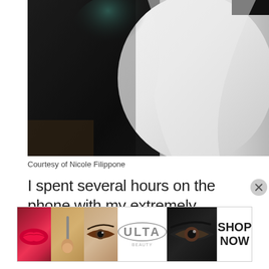[Figure (photo): Two people posing together at an indoor event. One wears a dark/black outfit with teal accent top, the other wears a flowing white gown. Dark wood background visible.]
Courtesy of Nicole Filippone
I spent several hours on the phone with my extremely knowledgeable mom learning
[Figure (advertisement): ULTA Beauty advertisement banner showing makeup-themed photos (lips, brushes, eye makeup) with ULTA logo and 'SHOP NOW' call to action.]